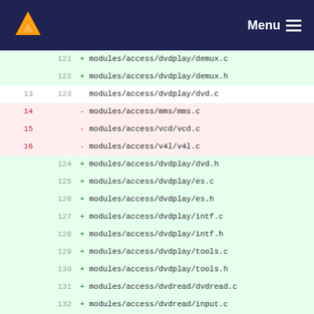VLC Menu
| old | new | code |
| --- | --- | --- |
|  | 121 | + modules/access/dvdplay/demux.c |
|  | 122 | + modules/access/dvdplay/demux.h |
| 13 | 123 |   modules/access/dvdplay/dvd.c |
| 14 |  | - modules/access/mms/mms.c |
| 15 |  | - modules/access/vcd/vcd.c |
| 16 |  | - modules/access/v4l/v4l.c |
|  | 124 | + modules/access/dvdplay/dvd.h |
|  | 125 | + modules/access/dvdplay/es.c |
|  | 126 | + modules/access/dvdplay/es.h |
|  | 127 | + modules/access/dvdplay/intf.c |
|  | 128 | + modules/access/dvdplay/intf.h |
|  | 129 | + modules/access/dvdplay/tools.c |
|  | 130 | + modules/access/dvdplay/tools.h |
|  | 131 | + modules/access/dvdread/dvdread.c |
|  | 132 | + modules/access/dvdread/input.c |
|  | 133 | + modules/access/dvdread/input.h |
| 17 | 134 |   modules/access/file.c |
| 18 | 135 |   modules/access/ftp.c |
| 19 | 136 |   modules/access/http.c |